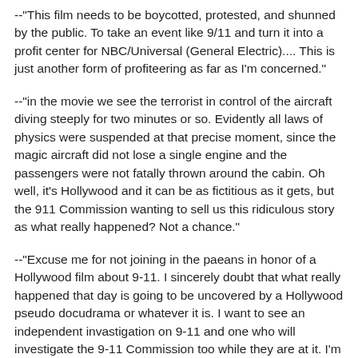--"This film needs to be boycotted, protested, and shunned by the public. To take an event like 9/11 and turn it into a profit center for NBC/Universal (General Electric).... This is just another form of profiteering as far as I'm concerned."
--"in the movie we see the terrorist in control of the aircraft diving steeply for two minutes or so. Evidently all laws of physics were suspended at that precise moment, since the magic aircraft did not lose a single engine and the passengers were not fatally thrown around the cabin. Oh well, it's Hollywood and it can be as fictitious as it gets, but the 911 Commission wanting to sell us this ridiculous story as what really happened? Not a chance."
--"Excuse me for not joining in the paeans in honor of a Hollywood film about 9-11. I sincerely doubt that what really happened that day is going to be uncovered by a Hollywood pseudo docudrama or whatever it is. I want to see an independent invastigation on 9-11 and one who will investigate the 9-11 Commission too while they are at it. I'm not buying the bullshit coming from either Washington or Hollywood."